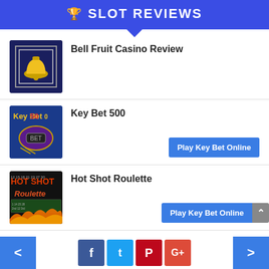SLOT REVIEWS
Bell Fruit Casino Review
Key Bet 500
Hot Shot Roulette
Progressive Pots Slot Machine Tips
< [Facebook] [Twitter] [Pinterest] [Google+] >